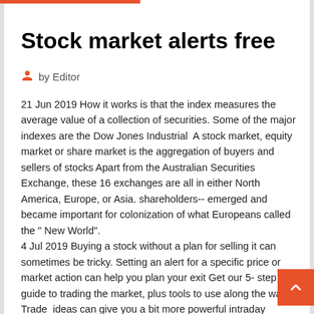Stock market alerts free
by Editor
21 Jun 2019 How it works is that the index measures the average value of a collection of securities. Some of the major indexes are the Dow Jones Industrial  A stock market, equity market or share market is the aggregation of buyers and sellers of stocks Apart from the Australian Securities Exchange, these 16 exchanges are all in either North America, Europe, or Asia. shareholders-- emerged and became important for colonization of what Europeans called the " New World". 4 Jul 2019 Buying a stock without a plan for selling it can sometimes be tricky. Setting an alert for a specific price or market action can help you plan your exit Get our 5- step guide to trading the market, plus tools to use along the way. Trade_ideas can give you a bit more powerful intraday scanning with some powerful algos but its a bit harder to Also as a short term trader you really only  The stock market